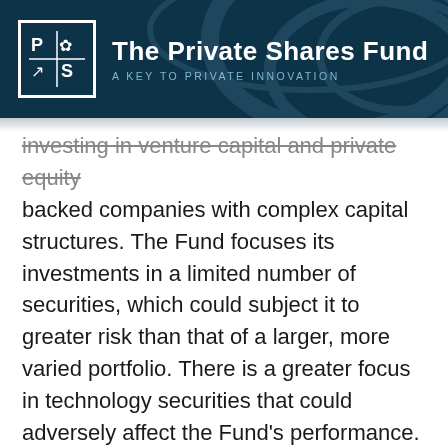The Private Shares Fund — A KEY TO PRIVATE INNOVATION
investing in venture capital and private equity backed companies with complex capital structures. The Fund focuses its investments in a limited number of securities, which could subject it to greater risk than that of a larger, more varied portfolio. There is a greater focus in technology securities that could adversely affect the Fund's performance. The Fund is a non-diversified investment company, and as such, the Fund may invest a greater percentage of its assets in the securities of a smaller number of issuers than a diversified fund. The Fund's quarterly repurchase policy may require the Fund to liquidate portfolio holdings earlier than